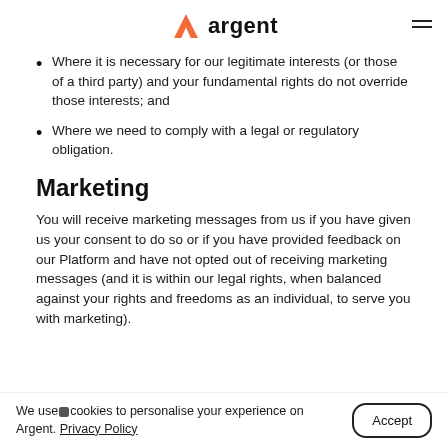argent
Where it is necessary for our legitimate interests (or those of a third party) and your fundamental rights do not override those interests; and
Where we need to comply with a legal or regulatory obligation.
Marketing
You will receive marketing messages from us if you have given us your consent to do so or if you have provided feedback on our Platform and have not opted out of receiving marketing messages (and it is within our legal rights, when balanced against your rights and freedoms as an individual, to serve you with marketing).
We use cookies to personalise your experience on Argent. Privacy Policy